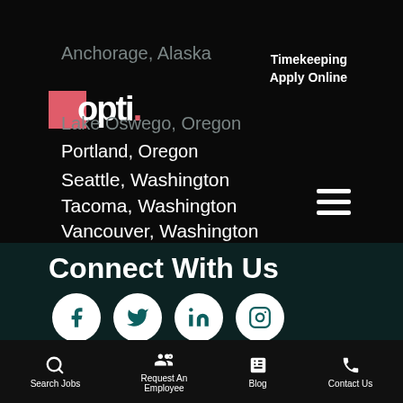[Figure (logo): Opti staffing logo with pink/red square and white text]
Anchorage, Alaska
Lake Oswego, Oregon
Portland, Oregon
Seattle, Washington
Tacoma, Washington
Vancouver, Washington
Timekeeping
Apply Online
Connect With Us
[Figure (illustration): Social media icons: Facebook, Twitter, LinkedIn, Instagram]
Search Jobs
Request An Employee
Blog
Contact Us